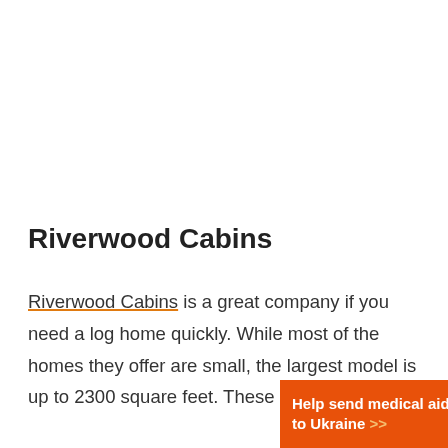Riverwood Cabins
Riverwood Cabins is a great company if you need a log home quickly. While most of the homes they offer are small, the largest model is up to 2300 square feet. These cabins only take
[Figure (infographic): Orange advertisement banner reading 'Help send medical aid to Ukraine >>' with Direct Relief logo on the right]